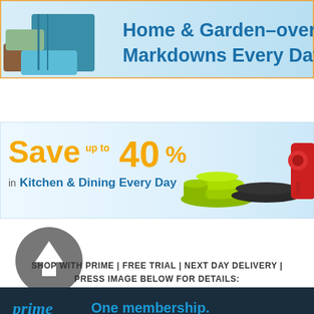[Figure (infographic): Home & Garden promotional banner with stacked towels image on the left and blue text 'Home & Garden–over a Markdowns Every Day' on a light blue background with orange border]
[Figure (infographic): Kitchen & Dining promotional banner: 'Save up to 40% in Kitchen & Dining Every Day' in orange/blue text with kitchen product images (plates, pans, mixer) on the right]
[Figure (infographic): Grey circle with white upward arrow icon]
SHOP WITH PRIME | FREE TRIAL | NEXT DAY DELIVERY | PRESS IMAGE BELOW FOR DETAILS:
[Figure (infographic): Amazon Prime dark banner with blue italic 'prime' logo with arrow, blue text 'One membership.' and white text 'Smile-worthy benefits.']